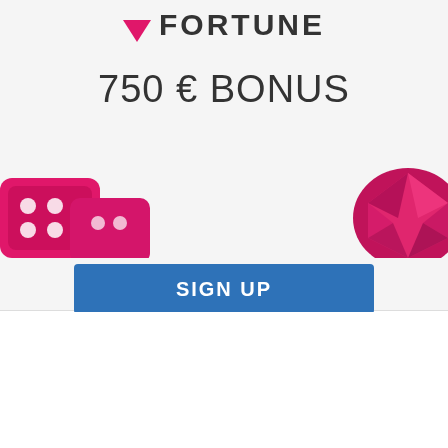[Figure (logo): Diamond Fortune casino logo with pink diamond icon and text FORTUNE]
750 € BONUS
[Figure (illustration): Pink/magenta casino dice and gemstone decorative images]
SIGN UP
We use cookies to offer you the best gaming experience. You can accept all now or manage the cookies you allow us to use. For more info, please read our Cookie Policy
MANAGE COOKIES
ACCEPT ALL